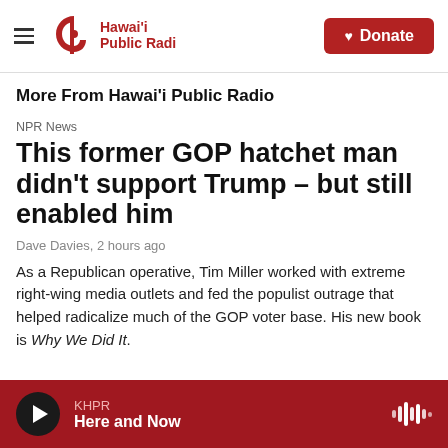Hawai'i Public Radio — Donate
More From Hawai'i Public Radio
NPR News
This former GOP hatchet man didn't support Trump – but still enabled him
Dave Davies, 2 hours ago
As a Republican operative, Tim Miller worked with extreme right-wing media outlets and fed the populist outrage that helped radicalize much of the GOP voter base. His new book is Why We Did It.
KHPR — Here and Now